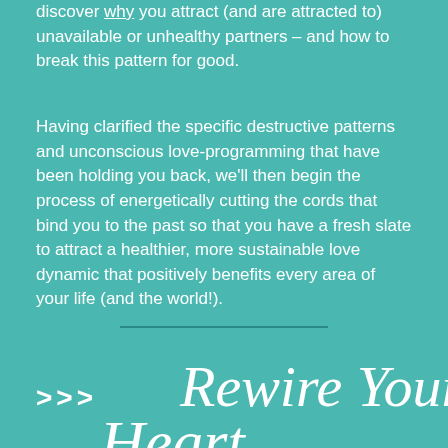discover why you attract (and are attracted to) unavailable or unhealthy partners – and how to break this pattern for good.
Having clarified the specific destructive patterns and unconscious love-programming that have been holding you back, we'll then begin the process of energetically cutting the cords that bind you to the past so that you have a fresh slate to attract a healthier, more sustainable love dynamic that positively benefits every area of your life (and the world!).
>>> Rewire Your Heart